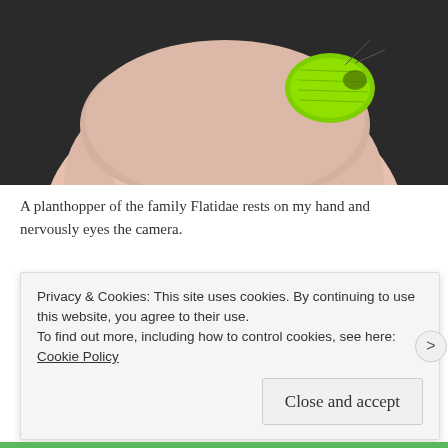[Figure (photo): Close-up macro photograph of a bright green planthopper (family Flatidae) resting on a person's finger, against a dark blurred background. The insect appears small with vivid lime-green coloring and visible wing texture.]
A planthopper of the family Flatidae rests on my hand and nervously eyes the camera.
[Figure (logo): Longreads advertisement banner. Black background with a red circle containing the letter L, followed by the text LONGREADS in white capital letters.]
Privacy & Cookies: This site uses cookies. By continuing to use this website, you agree to their use.
To find out more, including how to control cookies, see here: Cookie Policy